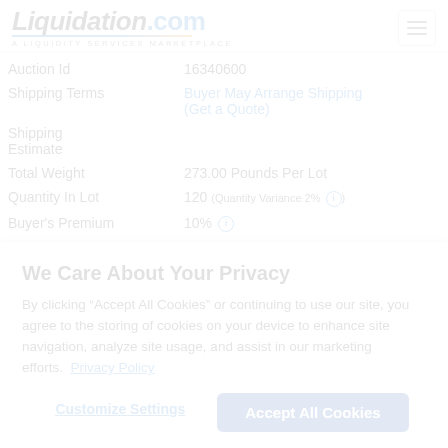Liquidation.com — A LIQUIDITY SERVICES MARKETPLACE
| Field | Value |
| --- | --- |
| Auction Id | 16340600 |
| Shipping Terms | Buyer May Arrange Shipping (Get a Quote) |
| Shipping Estimate |  |
| Total Weight | 273.00 Pounds Per Lot |
| Quantity In Lot | 120 (Quantity Variance 2%) |
| Buyer's Premium | 10% |
| Auction Type | Standard |
| Payments | [PayPal, MasterCard, VISA, DISCOVER] |
We Care About Your Privacy
By clicking “Accept All Cookies” or continuing to use our site, you agree to the storing of cookies on your device to enhance site navigation, analyze site usage, and assist in our marketing efforts.  Privacy Policy
Customize Settings  Accept All Cookies